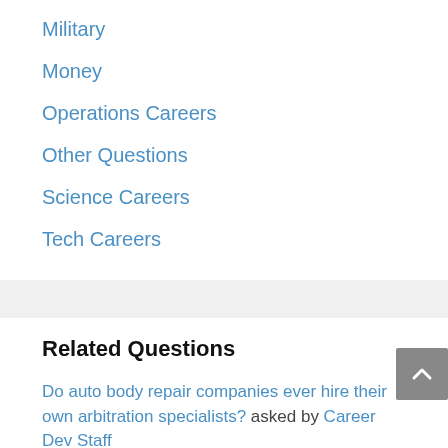Military
Money
Operations Careers
Other Questions
Science Careers
Tech Careers
Related Questions
Do auto body repair companies ever hire their own arbitration specialists? asked by Career Dev Staff
I feel like I have plateaued in my photography